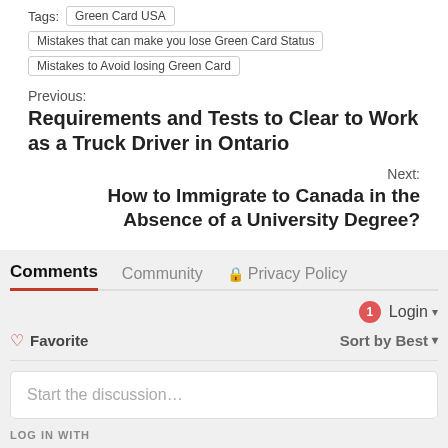Tags: Green Card USA | Mistakes that can make you lose Green Card Status | Mistakes to Avoid losing Green Card
Previous:
Requirements and Tests to Clear to Work as a Truck Driver in Ontario
Next:
How to Immigrate to Canada in the Absence of a University Degree?
Comments
Community
Privacy Policy
Login
Favorite
Sort by Best
Start the discussion…
LOG IN WITH